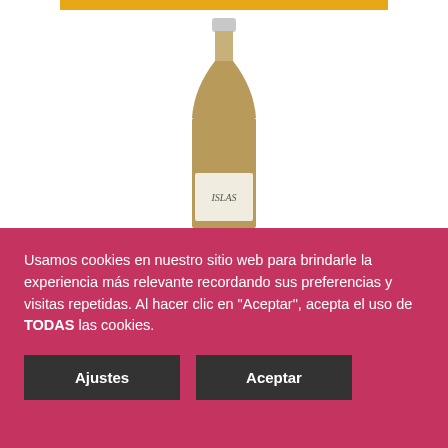[Figure (photo): Wine bottle of Paisaje de las Islas Espumoso Reserva Listán Negro with white/silver label reading ISLAS]
Vino PAISAJE DE LAS ISLAS Espumoso Reserva Listán Negro 75 cl. Producto Islas Canarias.
€7.95 €
Usamos cookies en nuestro sitio web para brindarle la experiencia más relevante recordando sus preferencias y visitas repetidas. Al hacer clic en "Aceptar", acepta el uso de TODAS las cookies.
Ajustes
Aceptar